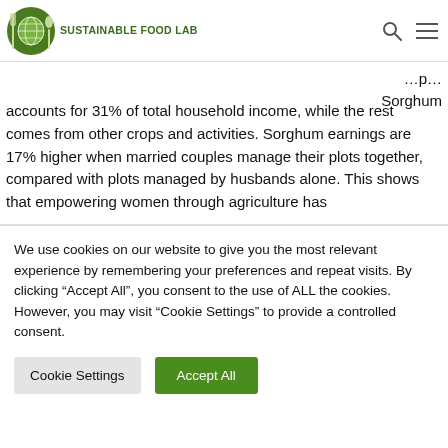[Figure (logo): Sustainable Food Lab logo with fork, globe, and spoon icon in green circle, with text 'SUSTAINABLE FOOD LAB' in dark green]
Sorghum accounts for 31% of total household income, while the rest comes from other crops and activities. Sorghum earnings are 17% higher when married couples manage their plots together, compared with plots managed by husbands alone. This shows that empowering women through agriculture has
We use cookies on our website to give you the most relevant experience by remembering your preferences and repeat visits. By clicking "Accept All", you consent to the use of ALL the cookies. However, you may visit "Cookie Settings" to provide a controlled consent.